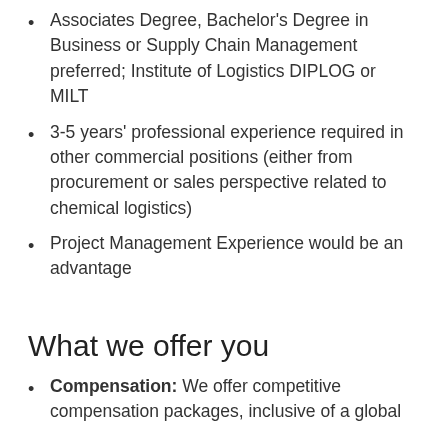Associates Degree, Bachelor's Degree in Business or Supply Chain Management preferred; Institute of Logistics DIPLOG or MILT
3-5 years' professional experience required in other commercial positions (either from procurement or sales perspective related to chemical logistics)
Project Management Experience would be an advantage
What we offer you
Compensation: We offer competitive compensation packages, inclusive of a global